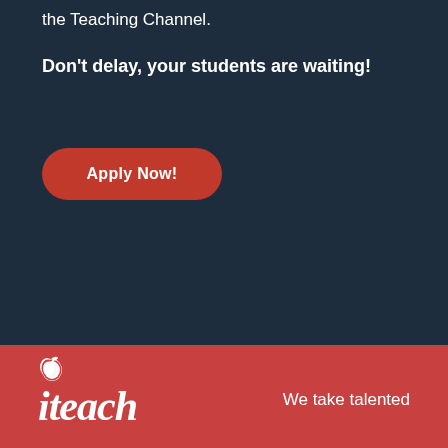the Teaching Channel.
Don't delay, your students are waiting!
[Figure (other): Red rounded rectangle button with white bold text reading 'Apply Now!']
[Figure (logo): iTeach logo on red background with apple icon above italic 'iteach' text]
We take talented